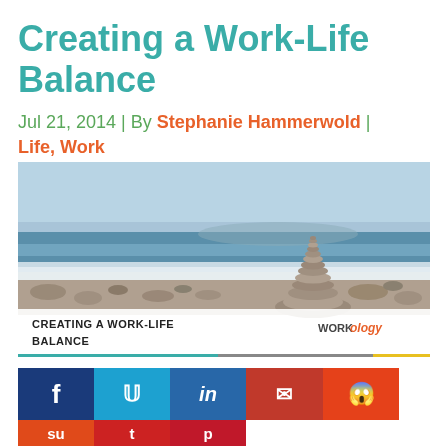Creating a Work-Life Balance
Jul 21, 2014 | By Stephanie Hammerwold | Life, Work
[Figure (photo): A stack of balanced rocks on a beach with ocean waves in the background. Overlay text reads CREATING A WORK-LIFE BALANCE with Workology logo.]
[Figure (infographic): Social media share buttons: Facebook (dark blue), Twitter (light blue), LinkedIn (blue), Email (red), Reddit (orange-red) in top row; StumbleUpon (orange), Tumblr (dark red), Pinterest (crimson) in bottom row.]